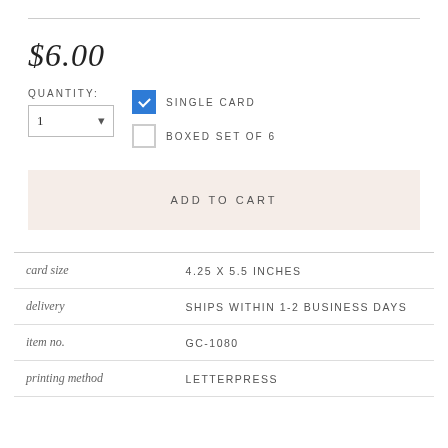$6.00
QUANTITY: 1
SINGLE CARD (checked)
BOXED SET OF 6 (unchecked)
ADD TO CART
|  |  |
| --- | --- |
| card size | 4.25 X 5.5 INCHES |
| delivery | SHIPS WITHIN 1-2 BUSINESS DAYS |
| item no. | GC-1080 |
| printing method | LETTERPRESS |